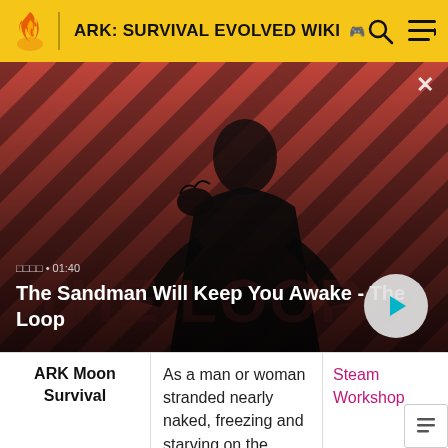ARK: SURVIVAL EVOLVED WIKI
[Figure (screenshot): Video thumbnail showing a dark-cloaked figure with a raven on shoulder against a red and black diagonal striped background. Title 'THE LOOP' visible. Video duration 01:40 shown. Video title: 'The Sandman Will Keep You Awake - The Loop']
The Sandman Will Keep You Awake - The Loop
|  |  |  |
| --- | --- | --- |
| ARK Moon Survival | As a man or woman stranded nearly naked, freezing and starving on the ground of a mysterious place called Moon. You must gather items, harvest | Steam Workshop |